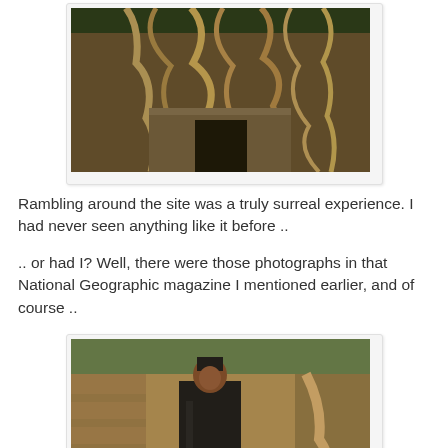[Figure (photo): Ancient temple ruins with massive tree roots growing over stone structure, viewed from below]
Rambling around the site was a truly surreal experience. I had never seen anything like it before ..
.. or had I? Well, there were those photographs in that National Geographic magazine I mentioned earlier, and of course ..
[Figure (photo): Woman in black outfit standing in ancient temple ruins, resembling Lara Croft character from Tomb Raider movie]
[library pic]
.. the blockbuster movie Lara Croft: Tomb Raider and its sequel were both filmed in and around the temple, which is